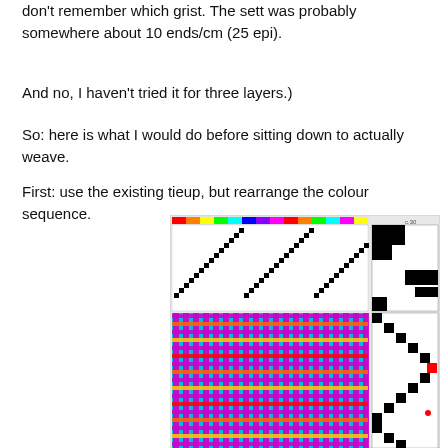don't remember which grist. The sett was probably somewhere about 10 ends/cm (25 epi).
And no, I haven't tried it for three layers.)
So: here is what I would do before sitting down to actually weave.
First: use the existing tieup, but rearrange the colour sequence.
[Figure (other): Weaving draft diagram showing threading grid at top with black diagonal pattern, and below it a colorful weave simulation with cyan, magenta/purple, red, and yellow yarns, with a tieup grid on the right side.]